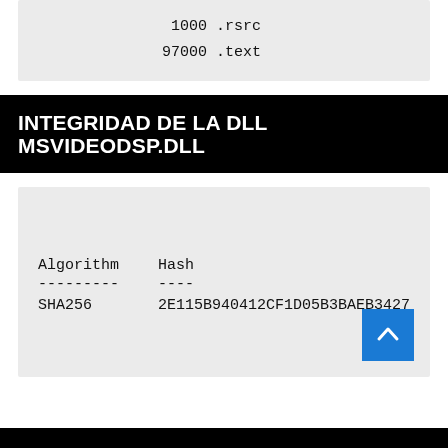1000 .rsrc
97000 .text
INTEGRIDAD DE LA DLL MSVIDEODSP.DLL
| Algorithm | Hash |
| --- | --- |
| SHA256 | 2E115B940412CF1D05B3BAEB3427… |